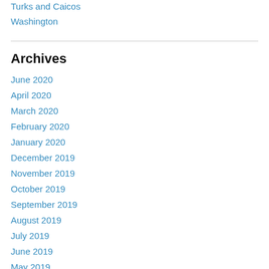Turks and Caicos
Washington
Archives
June 2020
April 2020
March 2020
February 2020
January 2020
December 2019
November 2019
October 2019
September 2019
August 2019
July 2019
June 2019
May 2019
April 2019